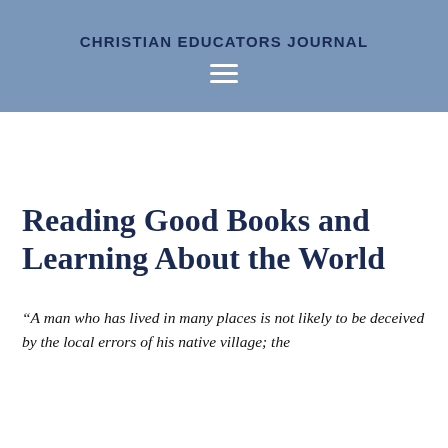CHRISTIAN EDUCATORS JOURNAL
Reading Good Books and Learning About the World
“A man who has lived in many places is not likely to be deceived by the local errors of his native village; the